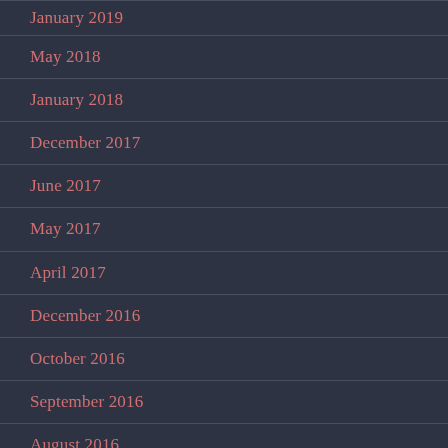January 2019
May 2018
January 2018
December 2017
June 2017
May 2017
April 2017
December 2016
October 2016
September 2016
August 2016
May 2016